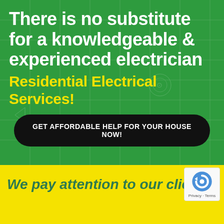There is no substitute for a knowledgeable & experienced electrician
Residential Electrical Services!
GET AFFORDABLE HELP FOR YOUR HOUSE NOW!
We pay attention to our clien
[Figure (logo): reCAPTCHA badge with circular arrow logo and Privacy · Terms text]